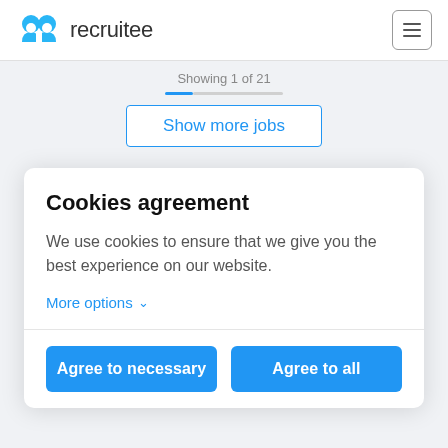[Figure (logo): Recruitee logo: blue cloud/person icon with 'recruitee' text in dark gray, and hamburger menu icon on the right]
Showing 1 of 21
Show more jobs
Cookies agreement
We use cookies to ensure that we give you the best experience on our website.
More options ∨
Agree to necessary
Agree to all